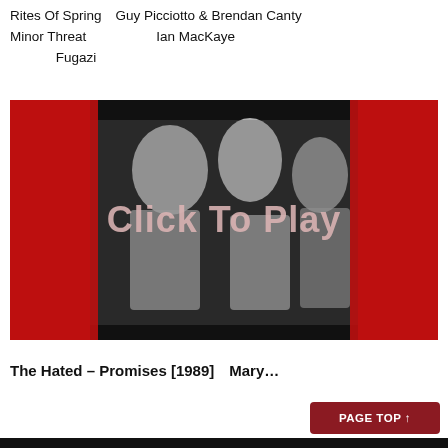Rites Of Spring　Guy Picciotto & Brendan Canty　 Minor Threat　　　　　　　Ian MacKaye　　　　　　　　　　　　　　 　　　　 Fugazi
[Figure (screenshot): Video thumbnail with red background, black and white photo of performers, overlaid with white/pink text reading 'Click To Play']
The Hated – Promises [1989]　Mary…
PAGE TOP ↑